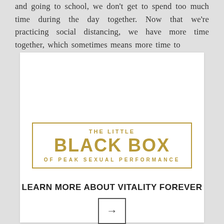and going to school, we don't get to spend too much time during the day together. Now that we're practicing social distancing, we have more time together, which sometimes means more time to
[Figure (logo): The Little Black Box of Peak Sexual Performance — gold-colored logo with border]
LEARN MORE ABOUT VITALITY FOREVER
[Figure (other): Arrow button pointing right inside a square box]